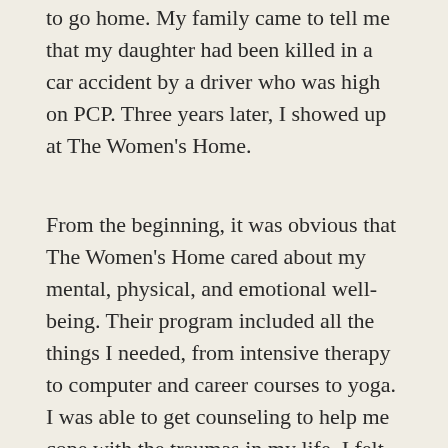to go home. My family came to tell me that my daughter had been killed in a car accident by a driver who was high on PCP. Three years later, I showed up at The Women's Home.
From the beginning, it was obvious that The Women's Home cared about my mental, physical, and emotional well-being. Their program included all the things I needed, from intensive therapy to computer and career courses to yoga. I was able to get counseling to help me cope with the traumas in my life. I felt safe to share all the secrets that I had never shared with anyone and received counseling for each.
I found new important life skills, such as self-advocacy, confidence, and problem- solving through